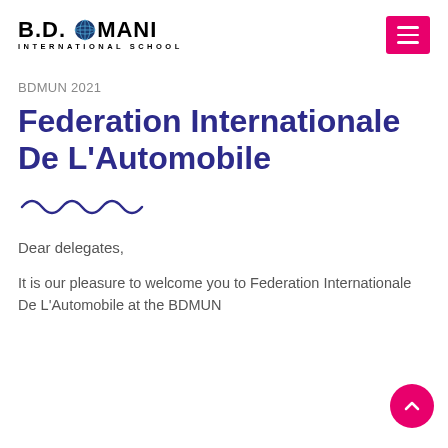B.D. SOMANI INTERNATIONAL SCHOOL
BDMUN 2021
Federation Internationale De L'Automobile
Dear delegates,
It is our pleasure to welcome you to Federation Internationale De L'Automobile at the BDMUN